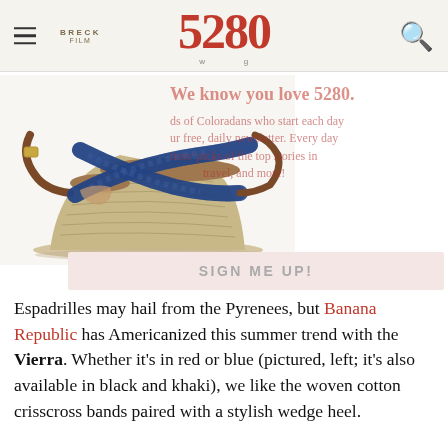5280 | www.5280.com | BRECK FILM
[Figure (photo): Blue braided wedge espadrille sandal (Banana Republic Vierra) photographed against a white background, with crisscross woven cotton straps and a jute-wrapped wedge heel.]
We know you love 5280. [thousands] of Coloradans who start each day [with] our free, daily newsletter. Every day [you get] editors' picks of the top stories in [food, travel, and more!
SIGN ME UP!
Espadrilles may hail from the Pyrenees, but Banana Republic has Americanized this summer trend with the Vierra. Whether it's in red or blue (pictured, left; it's also available in black and khaki), we like the woven cotton crisscross bands paired with a stylish wedge heel.